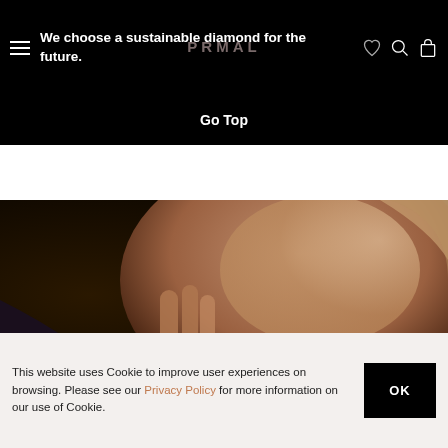We choose a sustainable diamond for the future.
Go Top
[Figure (photo): Close-up photo of a smiling woman touching her face, wearing a diamond ring on her finger]
This website uses Cookie to improve user experiences on browsing. Please see our Privacy Policy for more information on our use of Cookie.